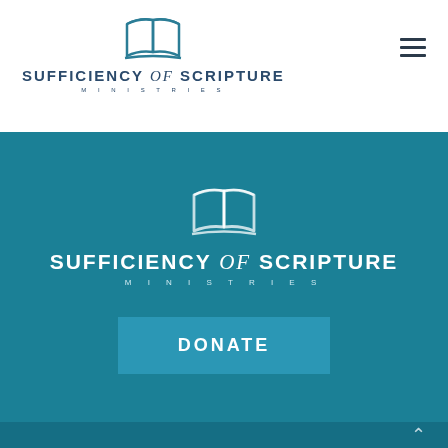[Figure (logo): Sufficiency of Scripture Ministries logo — open book icon in teal above bold text 'SUFFICIENCY of SCRIPTURE' with 'MINISTRIES' below in small spaced caps, on white background]
[Figure (logo): Sufficiency of Scripture Ministries logo — open book icon in white outline above bold white text 'SUFFICIENCY of SCRIPTURE' with 'MINISTRIES' below in light spaced caps, on teal background]
DONATE